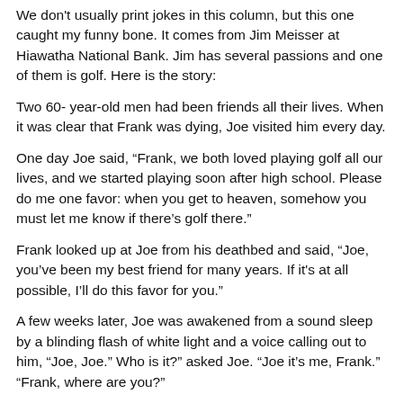We don't usually print jokes in this column, but this one caught my funny bone. It comes from Jim Meisser at Hiawatha National Bank. Jim has several passions and one of them is golf. Here is the story:
Two 60- year-old men had been friends all their lives. When it was clear that Frank was dying, Joe visited him every day.
One day Joe said, “Frank, we both loved playing golf all our lives, and we started playing soon after high school. Please do me one favor: when you get to heaven, somehow you must let me know if there’s golf there.”
Frank looked up at Joe from his deathbed and said, “Joe, you’ve been my best friend for many years. If it's at all possible, I’ll do this favor for you.”
A few weeks later, Joe was awakened from a sound sleep by a blinding flash of white light and a voice calling out to him, “Joe, Joe.” Who is it?” asked Joe. “Joe it’s me, Frank.” “Frank, where are you?”
“In heaven,” replied Frank, “I have some really good news and a little bad news.” “Tell me the good news first,” Joe said. Frank said — the image continues off page…